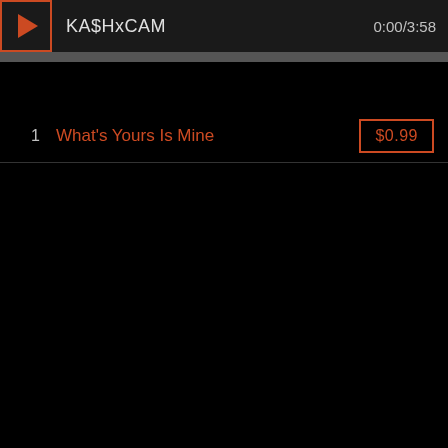KA$HxCAM  0:00/3:58
1  What's Yours Is Mine  $0.99